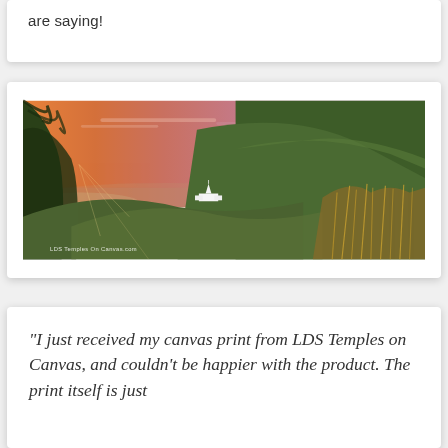are saying!
[Figure (photo): Panoramic landscape photo of a city valley at sunset with hills, golden grasses, green trees, and a white LDS temple visible in the middle distance. The sky shows pink and orange sunset hues. Watermark reads 'LDS Temples On Canvas.com']
“I just received my canvas print from LDS Temples on Canvas, and couldn’t be happier with the product. The print itself is just